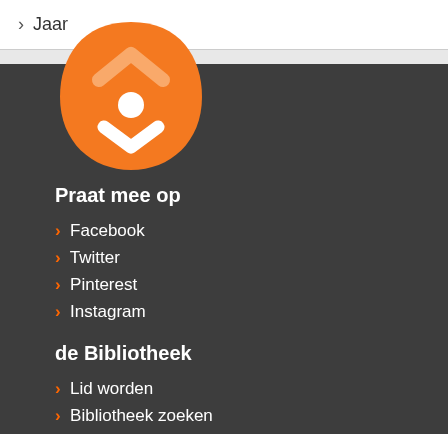> Jaar
[Figure (logo): de Bibliotheek orange logo with house/chevron up icon, person icon, and chevron down icon on an orange teardrop/shield shape]
Praat mee op
> Facebook
> Twitter
> Pinterest
> Instagram
de Bibliotheek
> Lid worden
> Bibliotheek zoeken